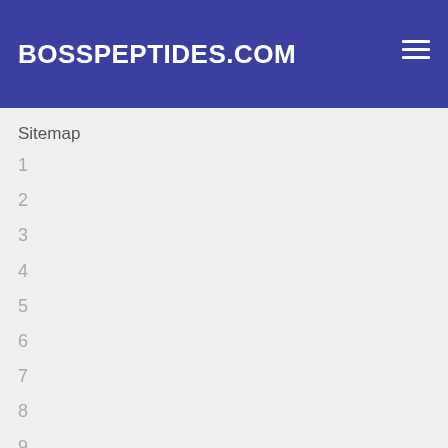BOSSPEPTIDES.COM
Sitemap
1
2
3
4
5
6
7
8
9
10
11
12
13